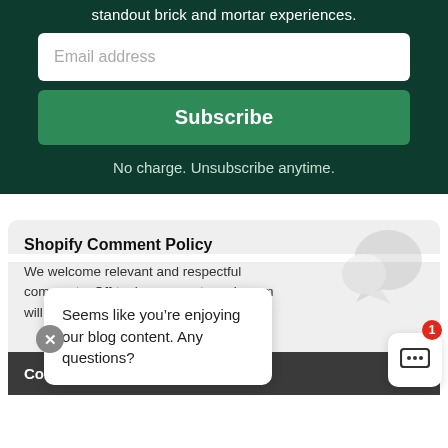standout brick and mortar experiences.
Email address
Subscribe
No charge. Unsubscribe anytime.
Shopify Comment Policy
We welcome relevant and respectful comments. Off-topic comments and spam will be removed.
Seems like you’re enjoying our blog content. Any questions?
Comments fo